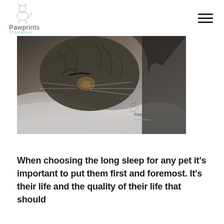[Figure (logo): Pawprints Cremation logo with cat/pet line-art illustration above text]
[Figure (photo): Close-up black and white photo of a sleeping cat nestled in soft fabric/blanket, with Pawprints Cremation watermark logo in the lower right corner]
When choosing the long sleep for any pet it’s important to put them first and foremost. It’s their life and the quality of their life that should